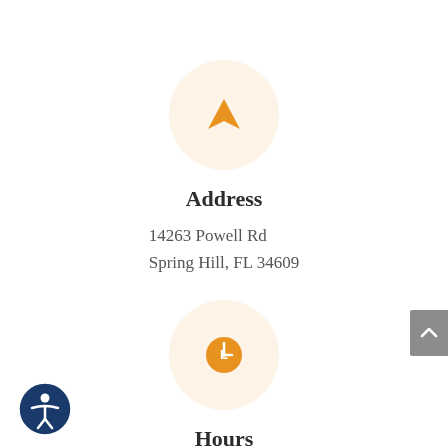[Figure (illustration): Navigation/location arrow icon in orange, inside a large light orange circle]
Address
14263 Powell Rd
Spring Hill, FL 34609
[Figure (illustration): Clock icon in orange circle, inside a larger light orange circle]
Hours
Mon, Fri: 8:30 am - 6:00 pm
[Figure (illustration): Accessibility icon (person in circle) in dark blue, bottom left corner]
[Figure (illustration): Gray scroll-to-top button with up caret, right edge]